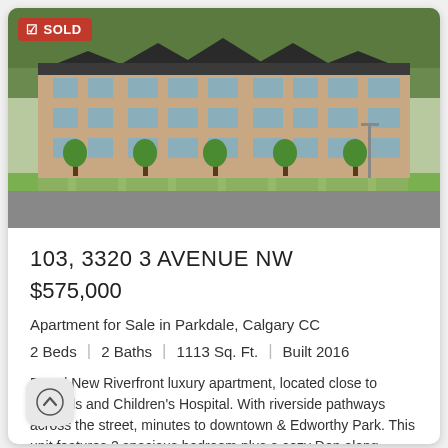[Figure (photo): Aerial/exterior photo of a multi-storey brick apartment complex called 103, 3320 3 Avenue NW in Parkdale, Calgary, surrounded by green lawns and trees. A red 'SOLD' badge is overlaid in the top-left corner.]
103, 3320 3 AVENUE NW
$575,000
Apartment for Sale in Parkdale, Calgary CC
2 Beds  |  2 Baths  |  1113 Sq. Ft.  |  Built 2016
Brand New Riverfront luxury apartment, located close to Foothills and Children's Hospital. With riverside pathways across the street, minutes to downtown & Edworthy Park. This unit features 2 spacious bedroom plus a cozy Den along